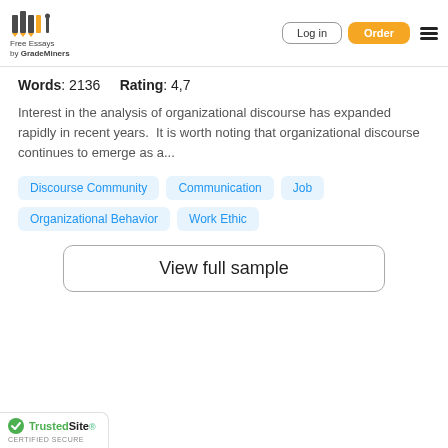Free Essays by GradeMiners — Log in | Order
Words: 2136    Rating: 4,7
Interest in the analysis of organizational discourse has expanded rapidly in recent years.  It is worth noting that organizational discourse continues to emerge as a...
Discourse Community
Communication
Job
Organizational Behavior
Work Ethic
View full sample
TrustedSite CERTIFIED SECURE